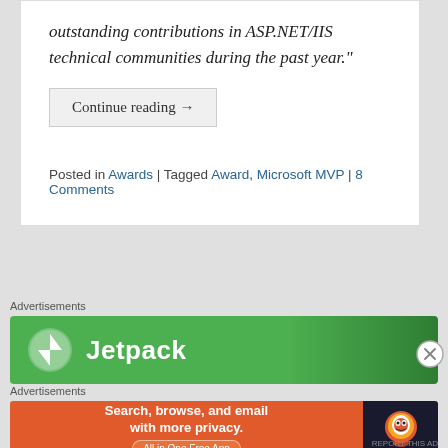outstanding contributions in ASP.NET/IIS technical communities during the past year."
Continue reading →
Posted in Awards | Tagged Award, Microsoft MVP | 8 Comments
Advertisements
[Figure (logo): Jetpack advertisement banner with green gradient background and Jetpack logo and name in white]
Advertisements
[Figure (logo): DuckDuckGo advertisement banner: orange left side with 'Search, browse, and email with more privacy. All in One Free App' and dark right side with DuckDuckGo logo]